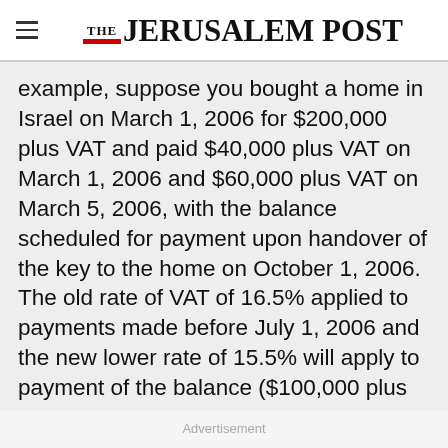THE JERUSALEM POST
example, suppose you bought a home in Israel on March 1, 2006 for $200,000 plus VAT and paid $40,000 plus VAT on March 1, 2006 and $60,000 plus VAT on March 5, 2006, with the balance scheduled for payment upon handover of the key to the home on October 1, 2006. The old rate of VAT of 16.5% applied to payments made before July 1, 2006 and the new lower rate of 15.5% will apply to payment of the balance ($100,000 plus
Advertisement